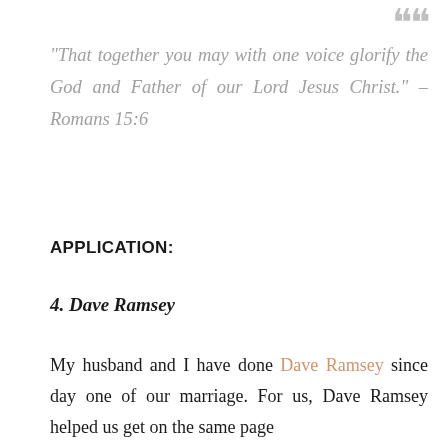“That together you may with one voice glorify the God and Father of our Lord Jesus Christ.” – Romans 15:6
APPLICATION:
4. Dave Ramsey
My husband and I have done Dave Ramsey since day one of our marriage. For us, Dave Ramsey helped us get on the same page